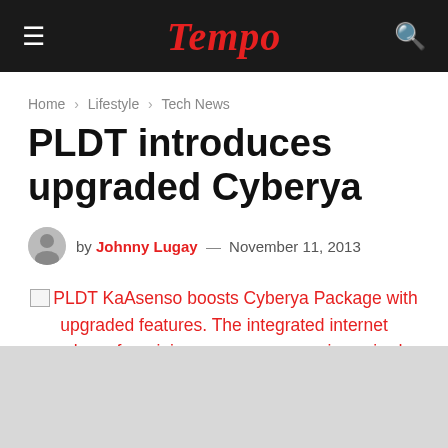Tempo
Home › Lifestyle › Tech News
PLDT introduces upgraded Cyberya
by Johnny Lugay — November 11, 2013
PLDT KaAsenso boosts Cyberya Package with upgraded features. The integrated internet package for minigosyos now comes in a wired variant with speeds of up to 2 Mbps